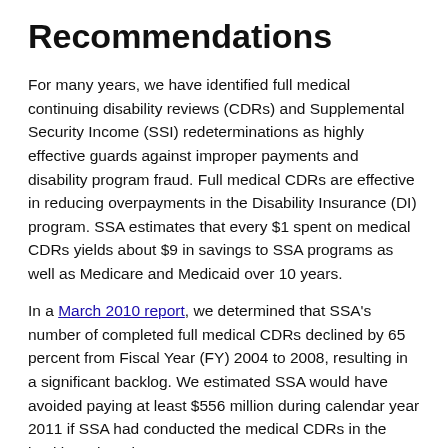Recommendations
For many years, we have identified full medical continuing disability reviews (CDRs) and Supplemental Security Income (SSI) redeterminations as highly effective guards against improper payments and disability program fraud. Full medical CDRs are effective in reducing overpayments in the Disability Insurance (DI) program. SSA estimates that every $1 spent on medical CDRs yields about $9 in savings to SSA programs as well as Medicare and Medicaid over 10 years.
In a March 2010 report, we determined that SSA's number of completed full medical CDRs declined by 65 percent from Fiscal Year (FY) 2004 to 2008, resulting in a significant backlog. We estimated SSA would have avoided paying at least $556 million during calendar year 2011 if SSA had conducted the medical CDRs in the backlog when they